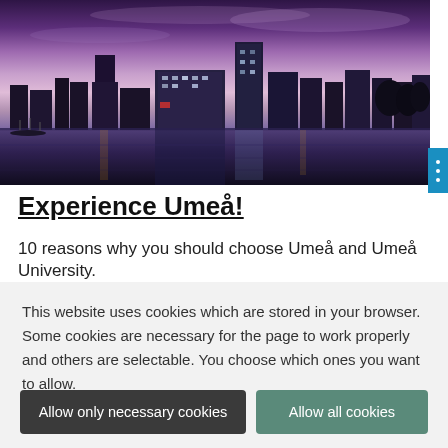[Figure (photo): Aerial/waterfront cityscape photo of Umeå at dusk/twilight with purple-pink sky, modern buildings reflected in water]
Experience Umeå!
10 reasons why you should choose Umeå and Umeå University.
This website uses cookies which are stored in your browser. Some cookies are necessary for the page to work properly and others are selectable. You choose which ones you want to allow.
Cookie settings...
Allow only necessary cookies
Allow all cookies